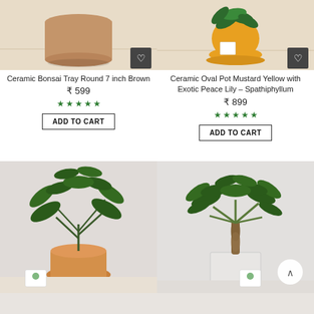[Figure (photo): Photo of Ceramic Bonsai Tray Round 7 inch Brown product with heart/wishlist button overlay]
Ceramic Bonsai Tray Round 7 inch Brown
₹ 599
★★★★★ (5 stars)
ADD TO CART
[Figure (photo): Photo of Ceramic Oval Pot Mustard Yellow with Exotic Peace Lily – Spathiphyllum with heart/wishlist button overlay]
Ceramic Oval Pot Mustard Yellow with Exotic Peace Lily – Spathiphyllum
₹ 899
★★★★★ (5 stars)
ADD TO CART
[Figure (photo): Photo of a green plant in an orange/terracotta pot with a small brand tag]
[Figure (photo): Photo of a money tree / Pachira plant in a white square pot, with a scroll-up button overlay and small brand tag]